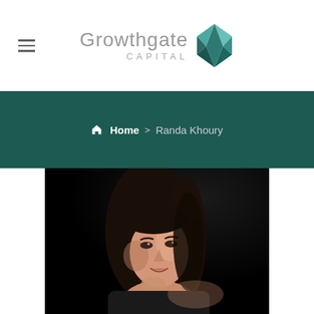Growthgate Capital — navigation header with hamburger menu and logo
Home > Randa Khoury
[Figure (photo): Professional headshot of Randa Khoury, a woman with dark hair, against a dark background, smiling slightly with hand near chin]